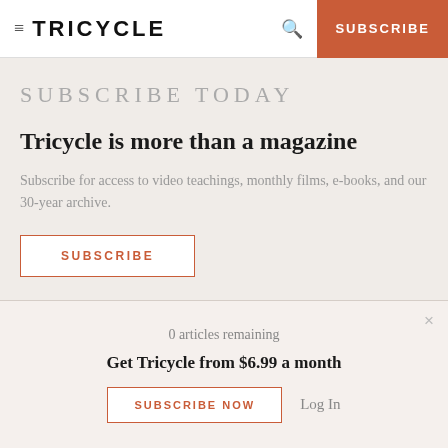≡ TRICYCLE  🔍  SUBSCRIBE
SUBSCRIBE TODAY
Tricycle is more than a magazine
Subscribe for access to video teachings, monthly films, e-books, and our 30-year archive.
SUBSCRIBE
0 articles remaining
Get Tricycle from $6.99 a month
SUBSCRIBE NOW  Log In